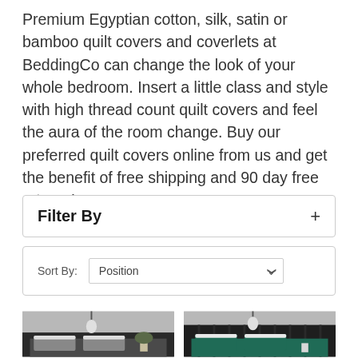Premium Egyptian cotton, silk, satin or bamboo quilt covers and coverlets at BeddingCo can change the look of your whole bedroom. Insert a little class and style with high thread count quilt covers and feel the aura of the room change. Buy our preferred quilt covers online from us and get the benefit of free shipping and 90 day free returns!
Filter By
Sort By: Position
[Figure (photo): Two bedroom product photos side by side: left shows dark charcoal/grey bedding on a bed with dark headboard and hanging pendant lamp; right shows teal/green bedding on a bed with dark vertical slat headboard and hanging pendant lamp.]